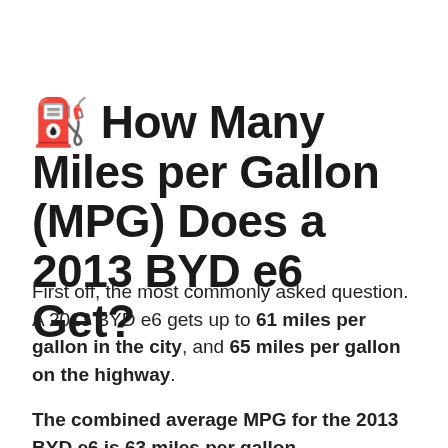⛽ How Many Miles per Gallon (MPG) Does a 2013 BYD e6 Get?
First off, the most commonly asked question. A 2013 BYD e6 gets up to 61 miles per gallon in the city, and 65 miles per gallon on the highway.
The combined average MPG for the 2013 BYD e6 is 63 miles per gallon.